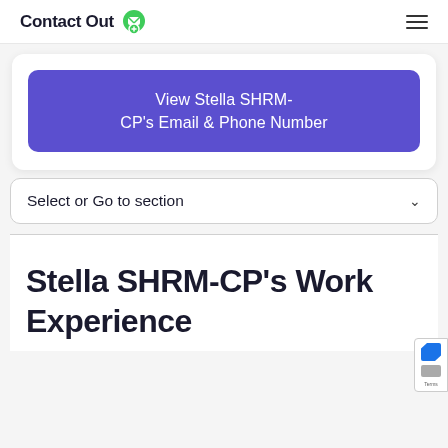ContactOut
View Stella SHRM-CP's Email & Phone Number
Select or Go to section
Stella SHRM-CP's Work Experience